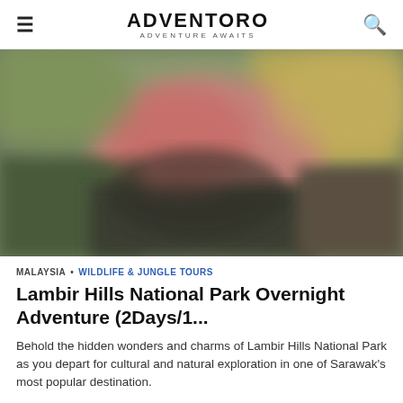ADVENTORO — ADVENTURE AWAITS
[Figure (photo): Blurred outdoor/jungle scene with warm and muted tones, featuring foliage and blurred figures in a natural setting]
MALAYSIA • WILDLIFE & JUNGLE TOURS
Lambir Hills National Park Overnight Adventure (2Days/1...
Behold the hidden wonders and charms of Lambir Hills National Park as you depart for cultural and natural exploration in one of Sarawak's most popular destination.